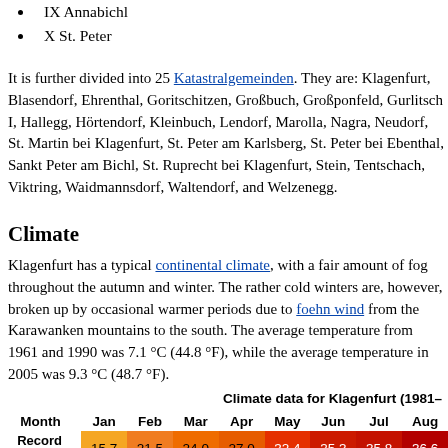IX Annabichl
X St. Peter
It is further divided into 25 Katastralgemeinden. They are: Klagenfurt, Blasendorf, Ehrenthal, Goritschitzen, Großbuch, Großponfeld, Gurlitsch I, Hallegg, Hörtendorf, Kleinbuch, Lendorf, Marolla, Nagra, Neudorf, St. Martin bei Klagenfurt, St. Peter am Karlsberg, St. Peter bei Ebenthal, Sankt Peter am Bichl, St. Ruprecht bei Klagenfurt, Stein, Tentschach, Viktring, Waidmannsdorf, Waltendorf, and Welzenegg.
Climate
Klagenfurt has a typical continental climate, with a fair amount of fog throughout the autumn and winter. The rather cold winters are, however, broken up by occasional warmer periods due to foehn wind from the Karawanken mountains to the south. The average temperature from 1961 and 1990 was 7.1 °C (44.8 °F), while the average temperature in 2005 was 9.3 °C (48.7 °F).
| Month | Jan | Feb | Mar | Apr | May | Jun | Jul | Aug |
| --- | --- | --- | --- | --- | --- | --- | --- | --- |
| Record high | 15.7 | 21.5 | 24.0 | 27.0 | 32.4 | 35.3 | 35.8 | 36.6 |